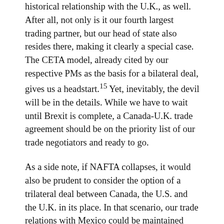historical relationship with the U.K., as well. After all, not only is it our fourth largest trading partner, but our head of state also resides there, making it clearly a special case. The CETA model, already cited by our respective PMs as the basis for a bilateral deal, gives us a headstart.15 Yet, inevitably, the devil will be in the details. While we have to wait until Brexit is complete, a Canada-U.K. trade agreement should be on the priority list of our trade negotiators and ready to go.
As a side note, if NAFTA collapses, it would also be prudent to consider the option of a trilateral deal between Canada, the U.S. and the U.K. in its place. In that scenario, our trade relations with Mexico could be maintained under the now renamed Comprehensive and Progressive Trans-Pacific Partnership (CPTPP) deal.
Turning to Asia, rather than bilateral deals, our priority should be to complete the CPTPP agreement. It meets most of our progressive goals and is well within grasp. But this deal is only partly about access to the growing Asian markets. Some of the nations Chile, Mexico, 7